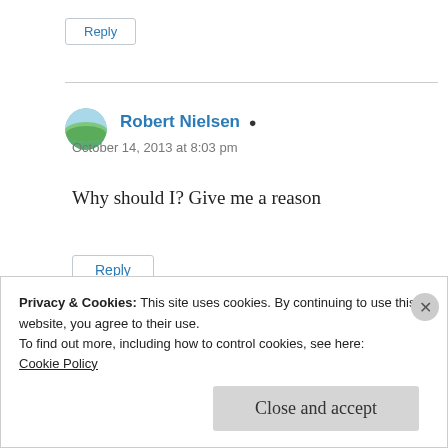Reply
Robert Nielsen
October 14, 2013 at 8:03 pm
Why should I? Give me a reason
Reply
Privacy & Cookies: This site uses cookies. By continuing to use this website, you agree to their use.
To find out more, including how to control cookies, see here:
Cookie Policy
Close and accept